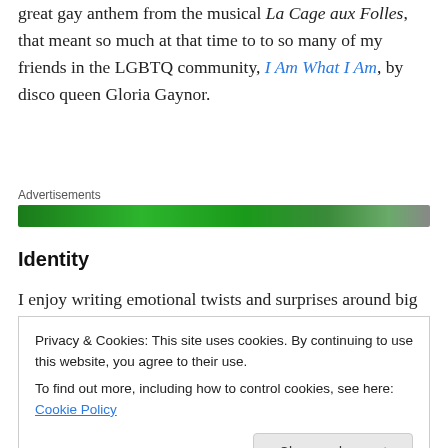Cyndi Lauper's, is Girls Just Wanna Have Fun and that great gay anthem from the musical La Cage aux Folles, that meant so much at that time to to so many of my friends in the LGBTQ community, I Am What I Am, by disco queen Gloria Gaynor.
[Figure (other): Green advertisement banner bar labeled 'Advertisements']
Identity
I enjoy writing emotional twists and surprises around big
Privacy & Cookies: This site uses cookies. By continuing to use this website, you agree to their use.
To find out more, including how to control cookies, see here: Cookie Policy
Close and accept